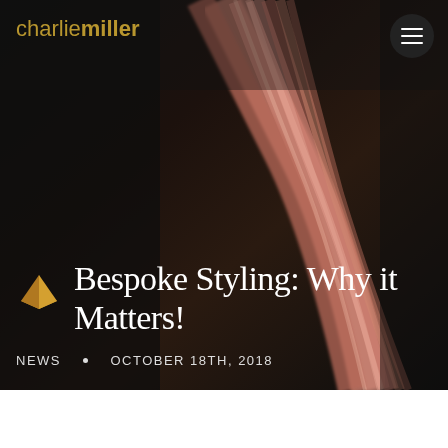[Figure (photo): Dark background image showing pink/rose-toned hair strands cascading diagonally, used as hero banner background for a hair salon blog post]
charliemiller
Bespoke Styling: Why it Matters!
NEWS • OCTOBER 18TH, 2018